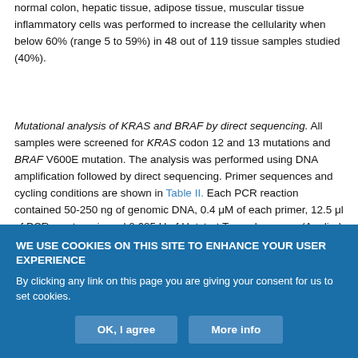normal colon, hepatic tissue, adipose tissue, muscular tissue inflammatory cells was performed to increase the cellularity when below 60% (range 5 to 59%) in 48 out of 119 tissue samples studied (40%).
Mutational analysis of KRAS and BRAF by direct sequencing. All samples were screened for KRAS codon 12 and 13 mutations and BRAF V600E mutation. The analysis was performed using DNA amplification followed by direct sequencing. Primer sequences and cycling conditions are shown in Table II. Each PCR reaction contained 50-250 ng of genomic DNA, 0.4 μM of each primer, 12.5 μl of PCR master mix and 0.625 U of Hotstart Taq polymerase (Applied
WE USE COOKIES ON THIS SITE TO ENHANCE YOUR USER EXPERIENCE
By clicking any link on this page you are giving your consent for us to set cookies.
OK, I agree
More info